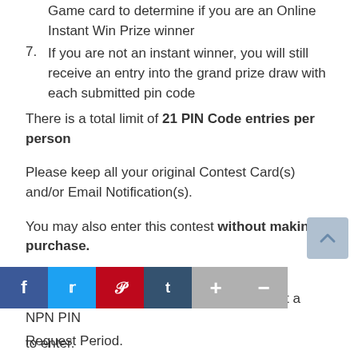Game card to determine if you are an Online Instant Win Prize winner
7. If you are not an instant winner, you will still receive an entry into the grand prize draw with each submitted pin code
There is a total limit of 21 PIN Code entries per person
Please keep all your original Contest Card(s) and/or Email Notification(s).
You may also enter this contest without making a purchase.
To get a no purchase pin code, visit maui.shoppersdrugmart.ca/npn and request a NPN PIN Request Period
[Figure (other): Social media sharing bar with Facebook, Twitter, Pinterest, Tumblr, plus and minus buttons, and a scroll-to-top arrow button]
to enter.